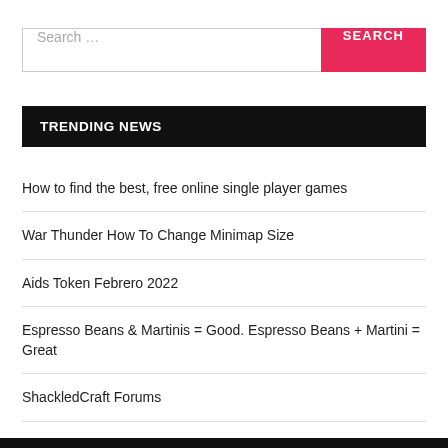[Figure (screenshot): Search input field with placeholder 'Search ...' and a pink/red SEARCH button on the right]
TRENDING NEWS
How to find the best, free online single player games
War Thunder How To Change Minimap Size
Aids Token Febrero 2022
Espresso Beans & Martinis = Good. Espresso Beans + Martini = Great
ShackledCraft Forums